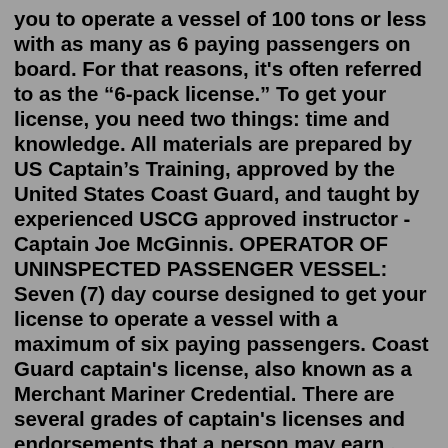you to operate a vessel of 100 tons or less with as many as 6 paying passengers on board. For that reasons, it's often referred to as the "6-pack license." To get your license, you need two things: time and knowledge. All materials are prepared by US Captain's Training, approved by the United States Coast Guard, and taught by experienced USCG approved instructor - Captain Joe McGinnis. OPERATOR OF UNINSPECTED PASSENGER VESSEL: Seven (7) day course designed to get your license to operate a vessel with a maximum of six paying passengers. Coast Guard captain's license, also known as a Merchant Mariner Credential. There are several grades of captain's licenses and endorsements that a person may earn . depending on their experience and the ac-tivity that they want to perform: Operator of Uninspected Passenger Vessel (OUPV) This basic license, also known as a "six-pack"Captains carrying this license are restricted in the operation of vessels within the Boundary Lines. The term "Inland Waters" refers to those waters